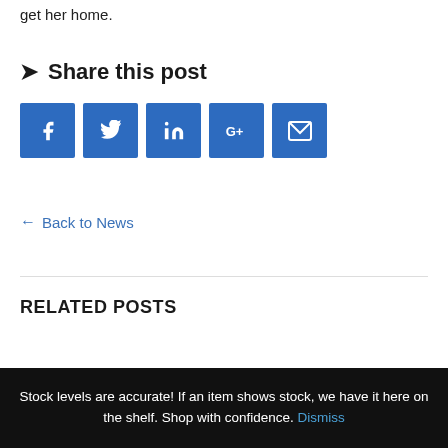get her home.
➤ Share this post
[Figure (other): Social sharing buttons: Facebook (f), Twitter bird, LinkedIn (in), Google+ (G+), Email (envelope) — all blue square buttons]
← Back to News
RELATED POSTS
Stock levels are accurate! If an item shows stock, we have it here on the shelf. Shop with confidence. Dismiss